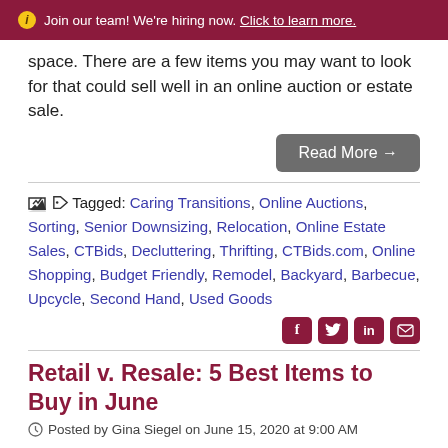ℹ Join our team! We're hiring now. Click to learn more.
space. There are a few items you may want to look for that could sell well in an online auction or estate sale.
Read More →
Tagged: Caring Transitions, Online Auctions, Sorting, Senior Downsizing, Relocation, Online Estate Sales, CTBids, Decluttering, Thrifting, CTBids.com, Online Shopping, Budget Friendly, Remodel, Backyard, Barbecue, Upcycle, Second Hand, Used Goods
Retail v. Resale: 5 Best Items to Buy in June
Posted by Gina Siegel on June 15, 2020 at 9:00 AM